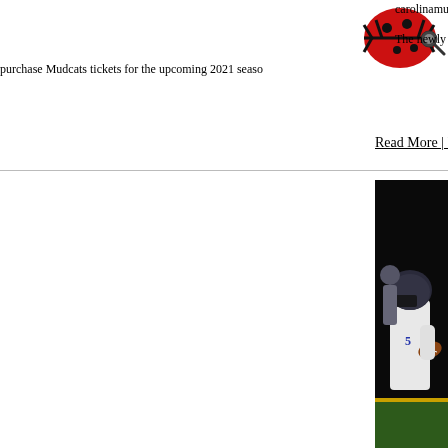[Figure (logo): Carolina Mudcats red ladybug/beetle logo, partially visible in upper right]
carolinamudcats.com an...
The newly released ticke...
purchase Mudcats tickets for the upcoming 2021 seaso...
Read More | Post Comment
[Figure (photo): A football player in white jersey with yellow lettering and dark helmet carrying a football at night, another player visible in background]